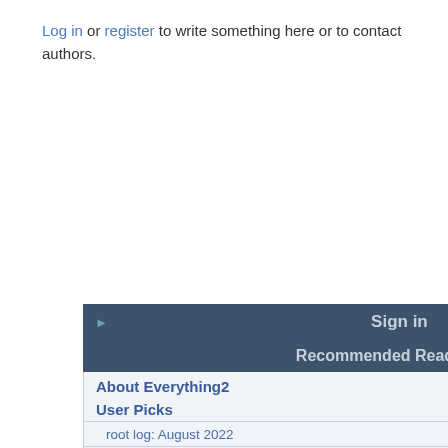Log in or register to write something here or to contact authors.
Sign in
Recommended Reading
About Everything2
User Picks
root log: August 2022
August 29, 2022
Cyberpunk
Zero Wing
There is no glass.
The sky above the port was the color of television, tuned to a dead channel
Editor Picks
vanity press
Comma Splices and Run-on Sentences
Gordon Cooper
Coffee Cake
Wells Cathedral